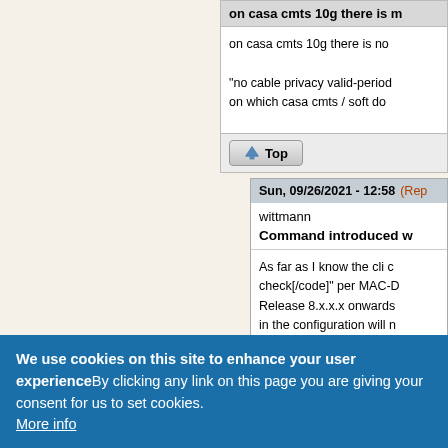on casa cmts 10g there is n
on casa cmts 10g there is n
on casa cmts 10g there is no
"no cable privacy valid-period
on which casa cmts / soft do
Top
Sun, 09/26/2021 - 12:58 (Rep
wittmann
Command introduced w
As far as I know the cli c
check[/code]" per MAC-D
Release 8.x.x.x onwards
in the configuration will n
But the C18G is not su
We use cookies on this site to enhance your user experienceBy clicking any link on this page you are giving your consent for us to set cookies. More info